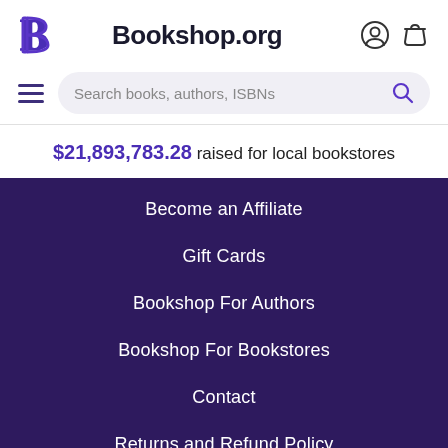[Figure (logo): Bookshop.org logo with stylized B icon and wordmark]
$21,893,783.28 raised for local bookstores
Become an Affiliate
Gift Cards
Bookshop For Authors
Bookshop For Bookstores
Contact
Returns and Refund Policy
Terms of Use
Privacy Notice